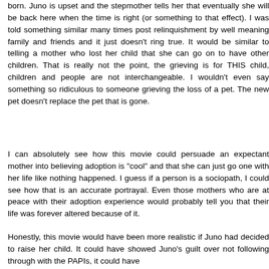born. Juno is upset and the stepmother tells her that eventually she will be back here when the time is right (or something to that effect). I was told something similar many times post relinquishment by well meaning family and friends and it just doesn't ring true. It would be similar to telling a mother who lost her child that she can go on to have other children. That is really not the point, the grieving is for THIS child, children and people are not interchangeable. I wouldn't even say something so ridiculous to someone grieving the loss of a pet. The new pet doesn't replace the pet that is gone.
I can absolutely see how this movie could persuade an expectant mother into believing adoption is "cool" and that she can just go one with her life like nothing happened. I guess if a person is a sociopath, I could see how that is an accurate portrayal. Even those mothers who are at peace with their adoption experience would probably tell you that their life was forever altered because of it.
Honestly, this movie would have been more realistic if Juno had decided to raise her child. It could have showed Juno's guilt over not following through with the PAPIs, it could have...